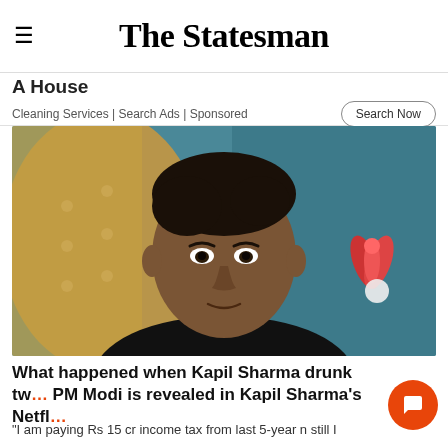The Statesman
A House
Cleaning Services | Search Ads | Sponsored
[Figure (photo): Close-up portrait of a man (Kapil Sharma) wearing a black t-shirt, seated in front of a teal/blue wall with a yellow tufted chair back visible on the left and a decorative red flower on the right.]
What happened when Kapil Sharma drunk tw... PM Modi is revealed in Kapil Sharma's Netfl...
"I am paying Rs 15 cr income tax from last 5-year n still I ...